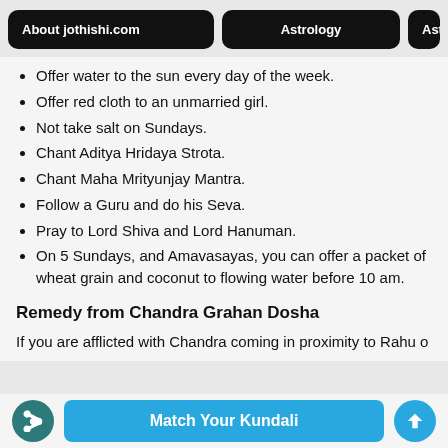About jothishi.com | Astrology | Astro
Offer water to the sun every day of the week.
Offer red cloth to an unmarried girl.
Not take salt on Sundays.
Chant Aditya Hridaya Strota.
Chant Maha Mrityunjay Mantra.
Follow a Guru and do his Seva.
Pray to Lord Shiva and Lord Hanuman.
On 5 Sundays, and Amavasayas, you can offer a packet of wheat grain and coconut to flowing water before 10 am.
Remedy from Chandra Grahan Dosha
If you are afflicted with Chandra coming in proximity to Rahu or...